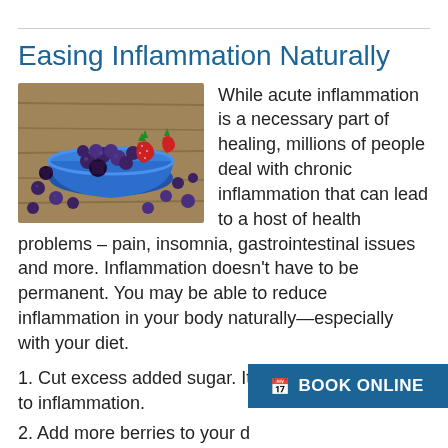Easing Inflammation Naturally
[Figure (photo): A blue bowl filled with mixed berries including blueberries, strawberries, and blackberries, with berries scattered on a wooden surface around the bowl.]
While acute inflammation is a necessary part of healing, millions of people deal with chronic inflammation that can lead to a host of health problems – pain, insomnia, gastrointestinal issues and more. Inflammation doesn't have to be permanent. You may be able to reduce inflammation in your body naturally—especially with your diet.
1. Cut excess added sugar. It's a major contributor to inflammation.
2. Add more berries to your d…